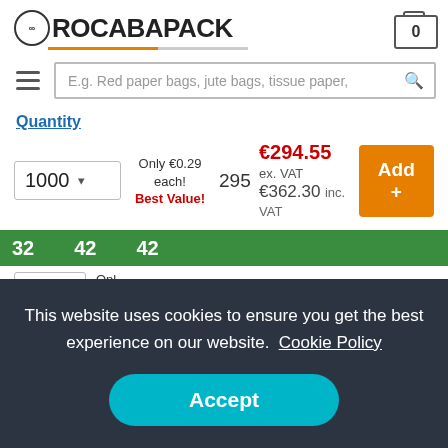ROCABAPACK — 0
E.g. Red paper bags, jute bags, tissue paper,
Quantity
1000   Only €0.29 each!   Best Value!   295   €294.55 ex. VAT   €362.30 inc. VAT   Add +
This website uses cookies to ensure you get the best experience on our website. Cookie Policy
Accept